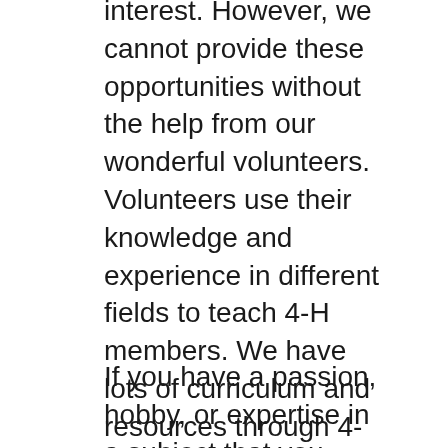interest. However, we cannot provide these opportunities without the help from our wonderful volunteers. Volunteers use their knowledge and experience in different fields to teach 4-H members. We have lots of curriculum and resources through 4-H, but without the volunteers, there would not be anyone to guide the members through their projects and excite their curiosity. Our volunteers here in Flagler County work tirelessly to create meaningful programs for 4-H youth. They invest their time and knowledge into 4-H because they know how much it will help the youth develop into caring adults.
If you have a passion, hobby, or expertise in a subject that you would like to share with our future generations, let us know!